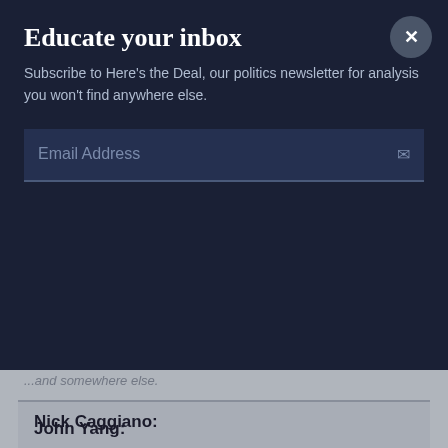Educate your inbox
Subscribe to Here's the Deal, our politics newsletter for analysis you won't find anywhere else.
Email Address
John Yang:
Nick Caggiano has been selling pizza in Rehoboth Beach, Delaware, for almost 50 years.
Nick Caggiano: